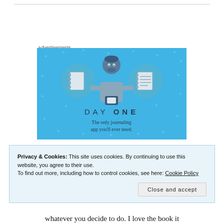Advertisements
[Figure (illustration): Day One journaling app advertisement banner. Light blue background with plus signs scattered. Center shows a cartoon figure of a person holding a smartphone, flanked by two circular icons: left circle shows a blank notebook, right circle shows a lined/structured notebook. Below: text 'DAY ONE' in spaced capitals, and tagline 'The only journaling app you'll ever need.']
Privacy & Cookies: This site uses cookies. By continuing to use this website, you agree to their use.
To find out more, including how to control cookies, see here: Cookie Policy
Close and accept
whatever you decide to do. I love the book it